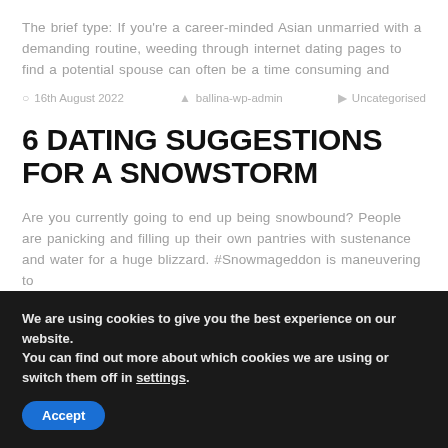The brief type: If you're a career-minded Asian unmarried with a demanding routine, weeding through internet dating pages to find a potential spouse can often be a time consuming and
16th August 2022   ballina-wp-admin   Uncategorised
6 DATING SUGGESTIONS FOR A SNOWSTORM
Are you currently going to end up being snowbound? People are panicking and filling up their own pantries with sustenance and water for a huge blizzard. #Snowmageddon is maneuvering to
We are using cookies to give you the best experience on our website.
You can find out more about which cookies we are using or switch them off in settings.
Accept